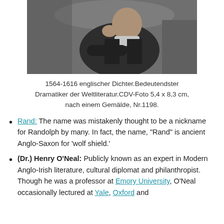[Figure (photo): Black and white historical photograph of a man in dark Victorian-era clothing, seated and resting his head on his hand.]
1564-1616 englischer Dichter.Bedeutendster Dramatiker der Weltliteratur.CDV-Foto 5,4 x 8,3 cm, nach einem Gemälde, Nr.1198.
Rand: The name was mistakenly thought to be a nickname for Randolph by many. In fact, the name, “Rand” is ancient Anglo-Saxon for ‘wolf shield.’
(Dr.) Henry O’Neal: Publicly known as an expert in Modern Anglo-Irish literature, cultural diplomat and philanthropist. Though he was a professor at Emory University, O’Neal occasionally lectured at Yale, Oxford and